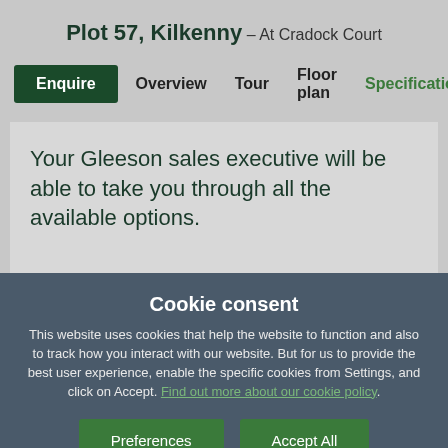Plot 57, Kilkenny – At Cradock Court
Enquire | Overview | Tour | Floor plan | Specification
Your Gleeson sales executive will be able to take you through all the available options.
Cookie consent
This website uses cookies that help the website to function and also to track how you interact with our website. But for us to provide the best user experience, enable the specific cookies from Settings, and click on Accept. Find out more about our cookie policy.